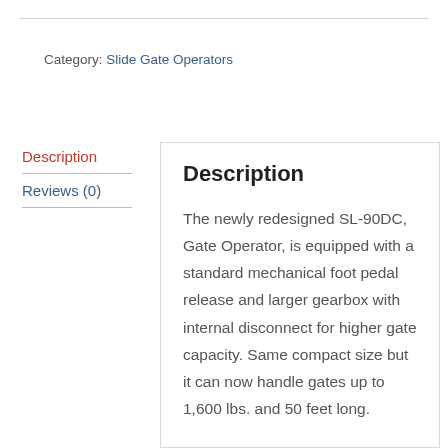Category: Slide Gate Operators
Description
Reviews (0)
Description
The newly redesigned SL-90DC, Gate Operator, is equipped with a standard mechanical foot pedal release and larger gearbox with internal disconnect for higher gate capacity. Same compact size but it can now handle gates up to 1,600 lbs. and 50 feet long.